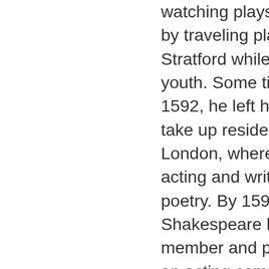watching plays performed by traveling players in Stratford while still in his youth. Some time before 1592, he left his family to take up residence in London, where he began acting and writing plays and poetry. By 1594 Shakespeare had become a member and part owner of an acting company called The Lord Chamberlain's Men, where he soon became the company's principal playwright. His plays enjoyed great popularity and high critical acclaim in the newly built Globe Theatre. It was through his popularity that the